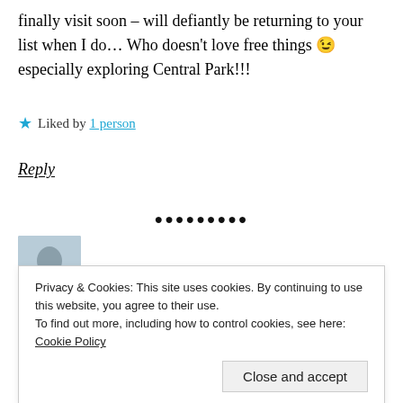finally visit soon – will defiantly be returning to your list when I do… Who doesn't love free things 😉 especially exploring Central Park!!!
★ Liked by 1 person
Reply
•••••••••
[Figure (photo): User avatar photo, partially visible, showing a person's head and shoulders]
Privacy & Cookies: This site uses cookies. By continuing to use this website, you agree to their use. To find out more, including how to control cookies, see here: Cookie Policy
Close and accept
with so many things to do it seems like a backpackers